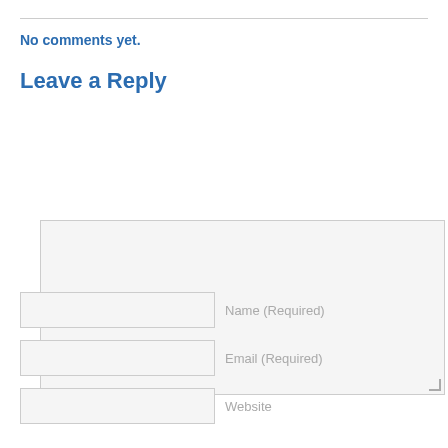No comments yet.
Leave a Reply
[Figure (screenshot): Web form with a large textarea for comment input, followed by three input fields for Name (Required), Email (Required), and Website]
Name (Required)
Email (Required)
Website